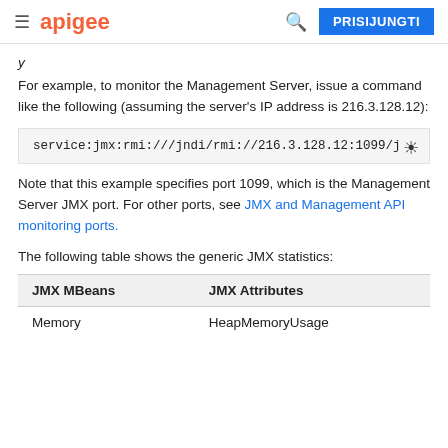apigee | PRISIJUNGTI
y
For example, to monitor the Management Server, issue a command like the following (assuming the server's IP address is 216.3.128.12):
service:jmx:rmi:///jndi/rmi://216.3.128.12:1099/j
Note that this example specifies port 1099, which is the Management Server JMX port. For other ports, see JMX and Management API monitoring ports.
The following table shows the generic JMX statistics:
| JMX MBeans | JMX Attributes |
| --- | --- |
| Memory | HeapMemoryUsage |